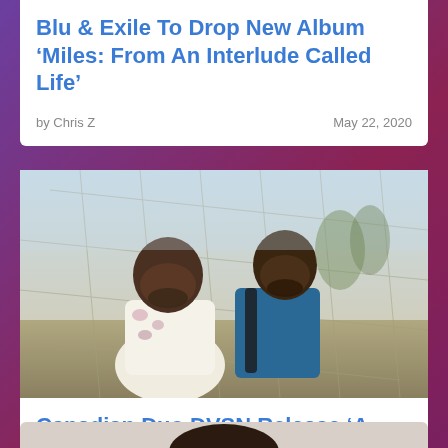[Figure (photo): Partial top strip of an album/artist photo, cropped at the top of the page]
Blu & Exile To Drop New Album ‘Miles: From An Interlude Called Life’
by Chris Z   May 22, 2020
[Figure (photo): Two men standing in front of a chain-link fence outdoors. Left man wears a white shirt and gold chain, right man wears a blue jacket with a backpack strap.]
Canadian Duo DVSN Release ‘A Muse In Her Feelings’
by Chris Z   April 18, 2020
[Figure (photo): Partial bottom card showing the top of a person's head, cropped at the bottom of the page]